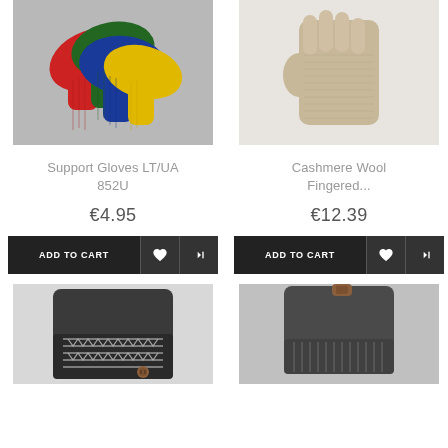[Figure (photo): Colorful knit gloves in red, green, blue, and yellow on gray background]
[Figure (photo): Beige/tan cashmere wool fingered gloves on white background]
Support Gloves LT/UA 852U
Cashmere Wool Fingered...
€4.95
€12.39
ADD TO CART
ADD TO CART
[Figure (photo): Dark gray fingerless gloves with geometric patterned cuff and brown button]
[Figure (photo): Dark gray fingerless gloves with brown leather button at cuff]